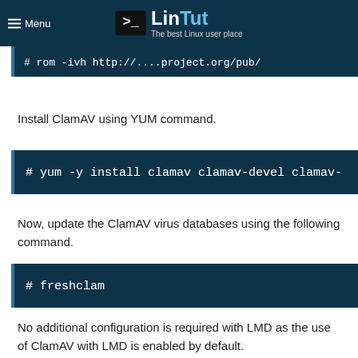LinTut — The best Linux user place
# rom -ivh http://...project.org/pub/
Install ClamAV using YUM command.
# yum -y install clamav clamav-devel clamav-
Now, update the ClamAV virus databases using the following command.
# freshclam
No additional configuration is required with LMD as the use of ClamAV with LMD is enabled by default.